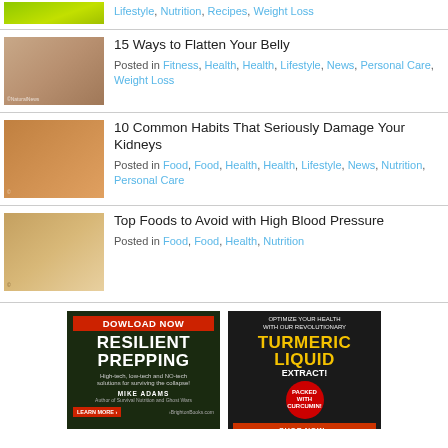[Figure (photo): Green limes/citrus thumbnail (partial, cropped at top)]
Lifestyle, Nutrition, Recipes, Weight Loss
[Figure (photo): Woman showing flat belly thumbnail]
15 Ways to Flatten Your Belly
Posted in Fitness, Health, Health, Lifestyle, News, Personal Care, Weight Loss
[Figure (photo): Two men toasting drinks thumbnail]
10 Common Habits That Seriously Damage Your Kidneys
Posted in Food, Food, Health, Health, Lifestyle, News, Nutrition, Personal Care
[Figure (photo): Glass of milk / food thumbnail]
Top Foods to Avoid with High Blood Pressure
Posted in Food, Food, Health, Nutrition
[Figure (illustration): Advertisement: DOWNLOAD NOW - Resilient Prepping book by Mike Adams]
[Figure (illustration): Advertisement: Optimize your health with Turmeric Liquid Extract - Shop Now]